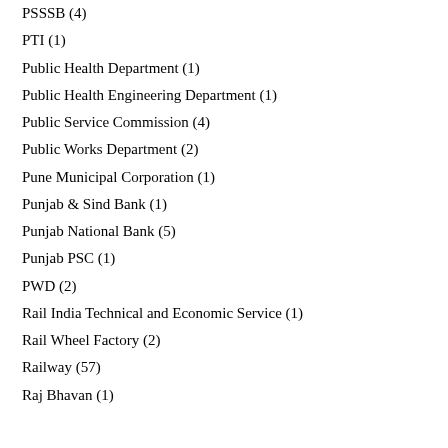PSSSB (4)
PTI (1)
Public Health Department (1)
Public Health Engineering Department (1)
Public Service Commission (4)
Public Works Department (2)
Pune Municipal Corporation (1)
Punjab & Sind Bank (1)
Punjab National Bank (5)
Punjab PSC (1)
PWD (2)
Rail India Technical and Economic Service (1)
Rail Wheel Factory (2)
Railway (57)
Raj Bhavan (1)